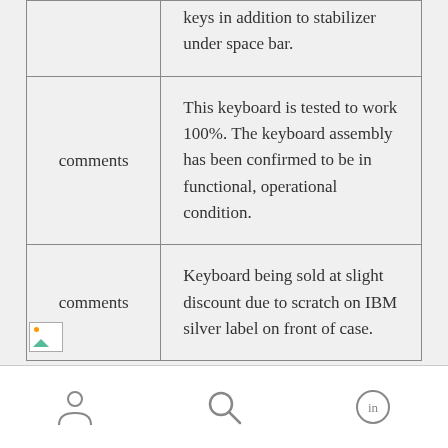|  |  |
| --- | --- |
|  | keys in addition to stabilizer under space bar. |
| comments | This keyboard is tested to work 100%. The keyboard assembly has been confirmed to be in functional, operational condition. |
| comments | Keyboard being sold at slight discount due to scratch on IBM silver label on front of case. |